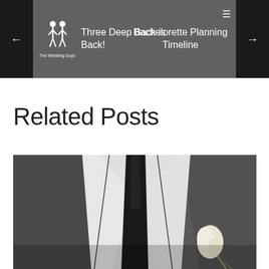The Wedding Guys | Three Deep Back is Back! | Bachelorette Planning Timeline
Related Posts
[Figure (photo): Close-up photo of a groom in a dark gray suit jacket with white dress shirt, dark tie, and a white floral boutonniere on the lapel]